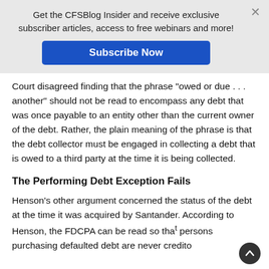Get the CFSBlog Insider and receive exclusive subscriber articles, access to free webinars and more!
Subscribe Now
Court disagreed finding that the phrase "owed or due . . . another" should not be read to encompass any debt that was once payable to an entity other than the current owner of the debt. Rather, the plain meaning of the phrase is that the debt collector must be engaged in collecting a debt that is owed to a third party at the time it is being collected.
The Performing Debt Exception Fails
Henson's other argument concerned the status of the debt at the time it was acquired by Santander. According to Henson, the FDCPA can be read so that persons purchasing defaulted debt are never creditors but are always debt collectors. The Court disagreed and